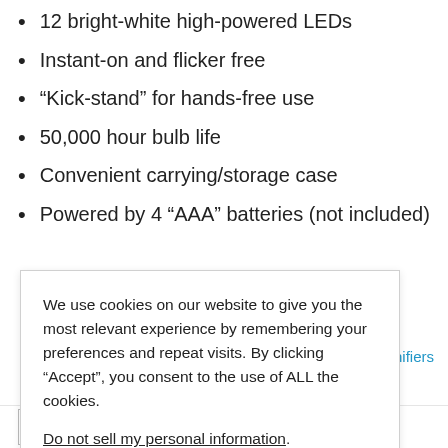12 bright-white high-powered LEDs
Instant-on and flicker free
“Kick-stand” for hands-free use
50,000 hour bulb life
Convenient carrying/storage case
Powered by 4 “AAA” batteries (not included)
We use cookies on our website to give you the most relevant experience by remembering your preferences and repeat visits. By clicking “Accept”, you consent to the use of ALL the cookies.
Do not sell my personal information.
Magnifiers